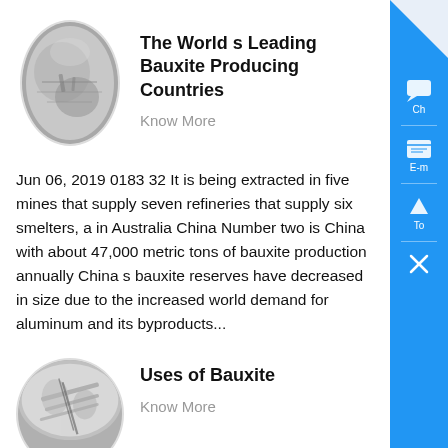[Figure (photo): Oval-shaped photo of bauxite mineral/ore]
The World s Leading Bauxite Producing Countries
Know More
Jun 06, 2019 0183 32 It is being extracted in five mines that supply seven refineries that supply six smelters, a in Australia China Number two is China with about 47,000 metric tons of bauxite production annually China s bauxite reserves have decreased in size due to the increased world demand for aluminum and its byproducts...
[Figure (photo): Oval-shaped photo of aluminum/bauxite product]
Uses of Bauxite
Know More